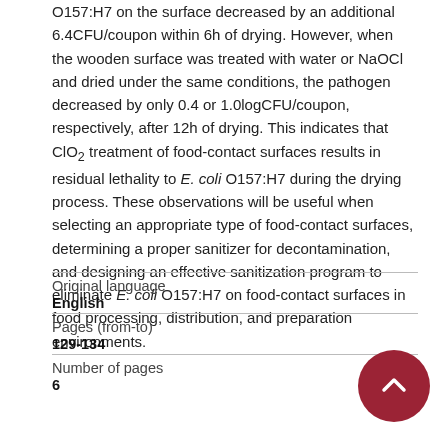O157:H7 on the surface decreased by an additional 6.4CFU/coupon within 6h of drying. However, when the wooden surface was treated with water or NaOCl and dried under the same conditions, the pathogen decreased by only 0.4 or 1.0logCFU/coupon, respectively, after 12h of drying. This indicates that ClO2 treatment of food-contact surfaces results in residual lethality to E. coli O157:H7 during the drying process. These observations will be useful when selecting an appropriate type of food-contact surfaces, determining a proper sanitizer for decontamination, and designing an effective sanitization program to eliminate E. coli O157:H7 on food-contact surfaces in food processing, distribution, and preparation environments.
| Field | Value |
| --- | --- |
| Original language | English |
| Pages (from-to) | 129-134 |
| Number of pages | 6 |